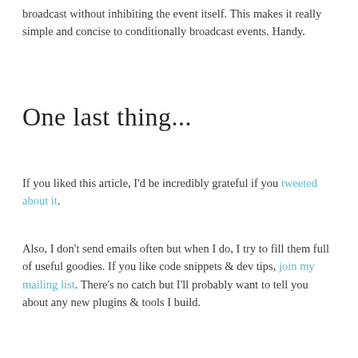broadcast without inhibiting the event itself. This makes it really simple and concise to conditionally broadcast events. Handy.
One last thing...
If you liked this article, I'd be incredibly grateful if you tweeted about it.
Also, I don't send emails often but when I do, I try to fill them full of useful goodies. If you like code snippets & dev tips, join my mailing list. There's no catch but I'll probably want to tell you about any new plugins & tools I build.